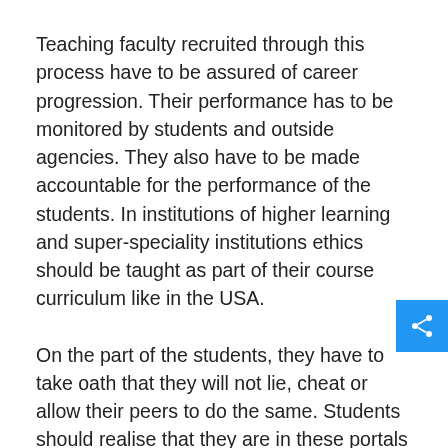Teaching faculty recruited through this process have to be assured of career progression. Their performance has to be monitored by students and outside agencies. They also have to be made accountable for the performance of the students. In institutions of higher learning and super-speciality institutions ethics should be taught as part of their course curriculum like in the USA.
On the part of the students, they have to take oath that they will not lie, cheat or allow their peers to do the same. Students should realise that they are in these portals of learning to truly learn and not to somehow obtain a degree for a job.
To what level our education has slipped can be gauged from a recent happening. The question paper for eligibility test examination for PhD. Programmes in an Orissa university was recently leaked which led to the cancellation of the test and an enquiry. Imagine a student entering a PhD. course through such